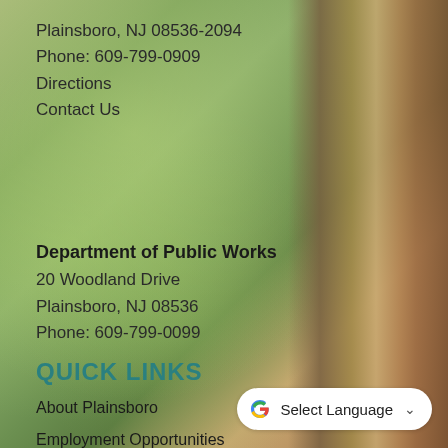Plainsboro, NJ 08536-2094
Phone: 609-799-0909
Directions
Contact Us
Department of Public Works
20 Woodland Drive
Plainsboro, NJ 08536
Phone: 609-799-0099
QUICK LINKS
About Plainsboro
Employment Opportunities
Vendor Opportunities
Plainsboro Village Center
[Figure (other): Google Translate widget button with 'Select Language' text and dropdown arrow]